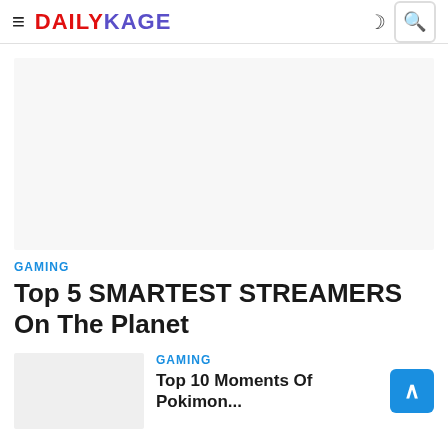≡ DAILYKAGE 🌙 🔍
[Figure (other): Light gray advertisement or image placeholder rectangle]
GAMING
Top 5 SMARTEST STREAMERS On The Planet
[Figure (other): Small thumbnail image placeholder for related article]
GAMING
Top 10 Moments Of Pokimon...